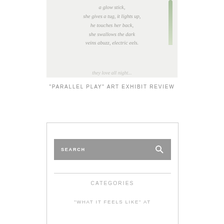[Figure (photo): Partial image of artwork or book page with overlaid poem text and a green plant/leaf element on the right edge. Background is light gray/white.]
"PARALLEL PLAY" ART EXHIBIT REVIEW
[Figure (screenshot): Sidebar widget with a gray search bar labeled SEARCH with a magnifying glass icon, a horizontal divider line, a CATEGORIES heading, and a list item starting with "WHAT IT FEELS LIKE" AT]
CATEGORIES
"WHAT IT FEELS LIKE" AT